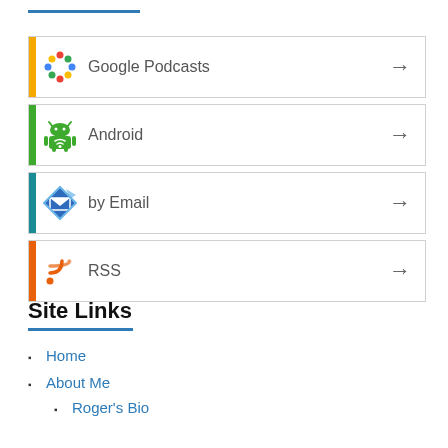Google Podcasts
Android
by Email
RSS
Site Links
Home
About Me
Roger's Bio